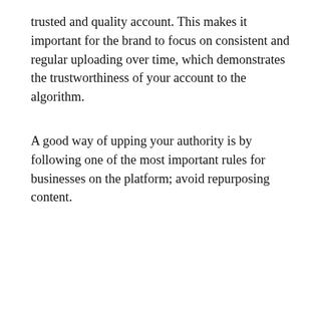trusted and quality account. This makes it important for the brand to focus on consistent and regular uploading over time, which demonstrates the trustworthiness of your account to the algorithm.
A good way of upping your authority is by following one of the most important rules for businesses on the platform; avoid repurposing content.